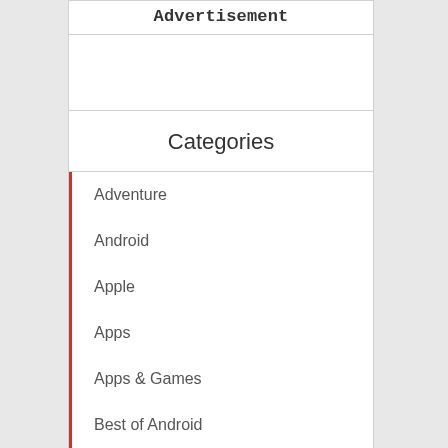Advertisement
Categories
Adventure
Android
Apple
Apps
Apps & Games
Best of Android
Casual